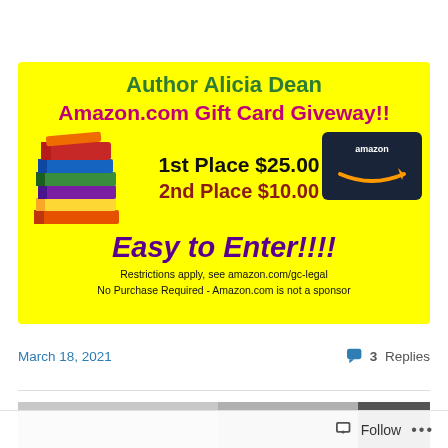[Figure (infographic): Yellow banner for Author Alicia Dean Amazon.com Gift Card Giveaway. Shows a stack of colorful books on the left, an Amazon gift card on the right, prize amounts 1st Place $25.00 and 2nd Place $10.00 in the center, 'Easy to Enter!!!!' in purple italic text, and legal disclaimer text at the bottom.]
March 18, 2021
3 Replies
[Figure (photo): Partial image visible at the bottom of the page, appears to be a grey/dark scene.]